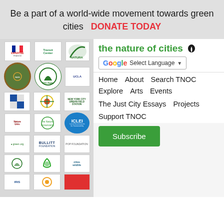Be a part of a world-wide movement towards green cities   DONATE TODAY
the nature of cities
Select Language
Home   About   Search TNOC
Explore   Arts   Events
The Just City Essays   Projects
Support TNOC
[Figure (logo): Various sponsor and partner logos including Expertise France, TransitCenter, Natura, NYC Parks, UCLA, ICLEI, Bullitt Foundation, Pop Council, and others]
Subscribe